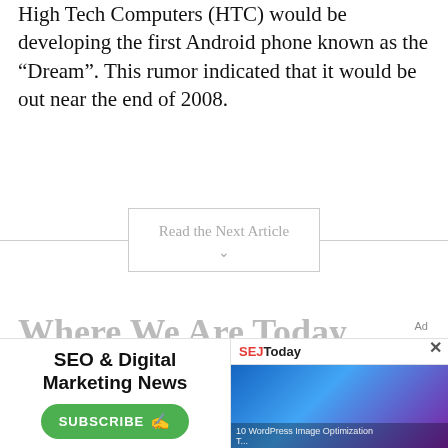High Tech Computers (HTC) would be developing the first Android phone known as the “Dream”. This rumor indicated that it would be out near the end of 2008.
Read the Next Article
Where We Are Today With Goo... Ind...
[Figure (screenshot): Advertisement overlay: SEO & Digital Marketing News subscribe banner on the left with a green SUBSCRIBE button, and SEJ Today newsletter preview on the right with a blue-toned sports photo and caption about WordPress Image Optimization. A close (X) button appears at top right of the ad.]